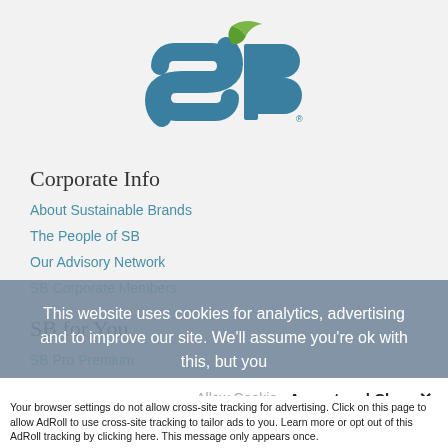[Figure (logo): Sustainable Brands SB logo with teal S and B letters and green leaf accent]
Corporate Info
About Sustainable Brands
The People of SB
Our Advisory Network
SB Corporate Members
SB for You
SB Pro Premium
This website uses cookies for analytics, advertising and to improve our site. We'll assume you're ok with this, but you
Accept and Close ×
Your browser settings do not allow cross-site tracking for advertising. Click on this page to allow AdRoll to use cross-site tracking to tailor ads to you. Learn more or opt out of this AdRoll tracking by clicking here. This message only appears once.